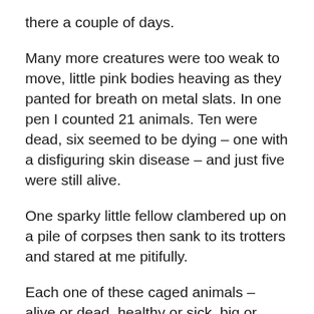there a couple of days.
Many more creatures were too weak to move, little pink bodies heaving as they panted for breath on metal slats. In one pen I counted 21 animals. Ten were dead, six seemed to be dying – one with a disfiguring skin disease – and just five were still alive.
One sparky little fellow clambered up on a pile of corpses then sank to its trotters and stared at me pitifully.
Each one of these caged animals – alive or dead, healthy or sick, big or small – had a small blue tattoo on one of their thighs. This proved they were the raw material for one of Italy's most famous prestige food products: prized